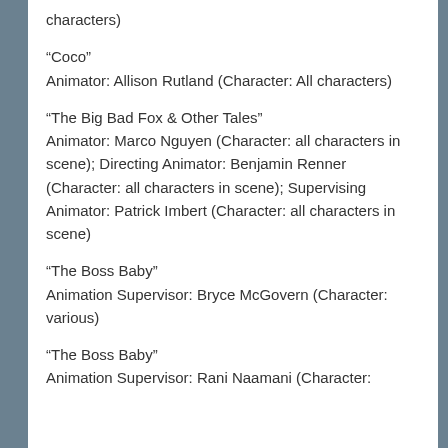characters)
“Coco”
Animator: Allison Rutland (Character: All characters)
“The Big Bad Fox & Other Tales”
Animator: Marco Nguyen (Character: all characters in scene); Directing Animator: Benjamin Renner (Character: all characters in scene); Supervising Animator: Patrick Imbert (Character: all characters in scene)
“The Boss Baby”
Animation Supervisor: Bryce McGovern (Character: various)
“The Boss Baby”
Animation Supervisor: Rani Naamani (Character: